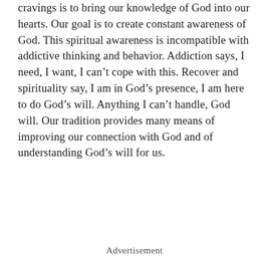cravings is to bring our knowledge of God into our hearts. Our goal is to create constant awareness of God. This spiritual awareness is incompatible with addictive thinking and behavior. Addiction says, I need, I want, I can't cope with this. Recover and spirituality say, I am in God's presence, I am here to do God's will. Anything I can't handle, God will. Our tradition provides many means of improving our connection with God and of understanding God's will for us.
Advertisement